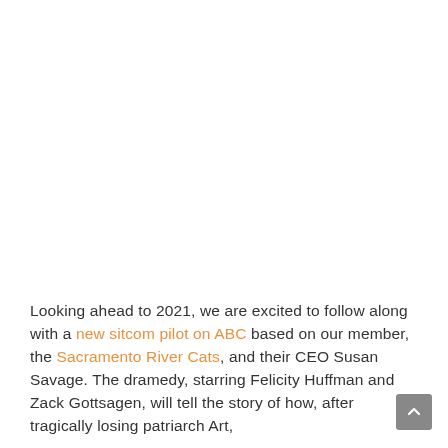Looking ahead to 2021, we are excited to follow along with a new sitcom pilot on ABC based on our member, the Sacramento River Cats, and their CEO Susan Savage. The dramedy, starring Felicity Huffman and Zack Gottsagen, will tell the story of how, after tragically losing patriarch Art,